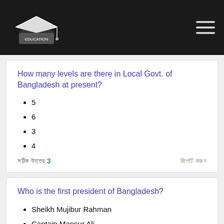[Logo] [Hamburger menu]
How many levels are there in Local Govt. of Bangladesh at present?
5
6
3
4
সঠিক উত্তর 3   রিপোর্ট করুন
Who is the first president of Bangladesh?
Sheikh Mujibur Rahman
Captain Mansur Ali
Sayed Nazrul Islam